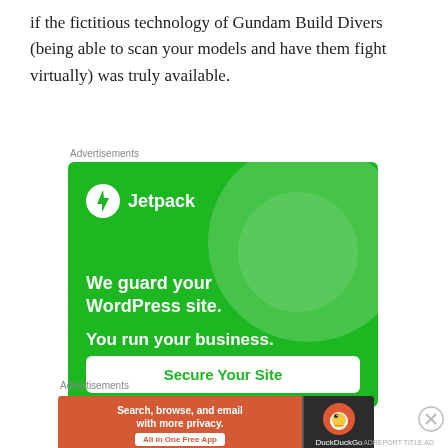if the fictitious technology of Gundam Build Divers (being able to scan your models and have them fight virtually) was truly available.
Advertisements
[Figure (illustration): Jetpack advertisement on green background. Logo with lightning bolt icon and text 'Jetpack'. Tagline: 'We guard your WordPress site. You run your business.' Button: 'Secure Your Site'.]
Advertisements
[Figure (illustration): DuckDuckGo advertisement. Left orange section: 'Search, browse, and email with more privacy. All in One Free App'. Right dark section: DuckDuckGo duck logo and brand name.]